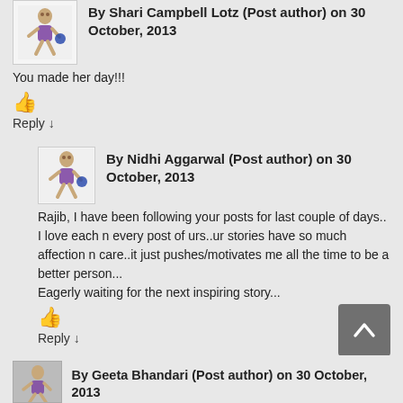By Shari Campbell Lotz (Post author) on 30 October, 2013
You made her day!!!
👍
Reply ↓
By Nidhi Aggarwal (Post author) on 30 October, 2013
Rajib, I have been following your posts for last couple of days..
I love each n every post of urs..ur stories have so much affection n care..it just pushes/motivates me all the time to be a better person...
Eagerly waiting for the next inspiring story...
👍
Reply ↓
By Geeta Bhandari (Post author) on 30 October, 2013